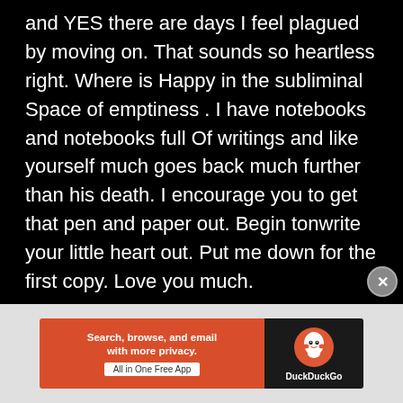and YES there are days I feel plagued by moving on. That sounds so heartless right. Where is Happy in the subliminal Space of emptiness . I have notebooks and notebooks full Of writings and like yourself much goes back much further than his death. I encourage you to get that pen and paper out. Begin tonwrite your little heart out. Put me down for the first copy. Love you much.
[Figure (other): DuckDuckGo advertisement banner: orange left panel with text 'Search, browse, and email with more privacy. All in One Free App' and dark right panel with DuckDuckGo logo and name.]